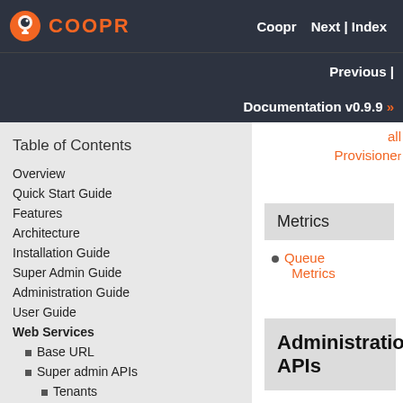COOPR | Coopr   Next | Index | Previous | Documentation v0.9.9 »
Table of Contents
Overview
Quick Start Guide
Features
Architecture
Installation Guide
Super Admin Guide
Administration Guide
User Guide
Web Services
Base URL
Super admin APIs
Tenants
Provisioners
Metrics
Administration APIs
Provider
Hardware
Image
Services
Cluster Templates
all Provisioners
Metrics
Queue Metrics
Administration APIs
Provider
Create